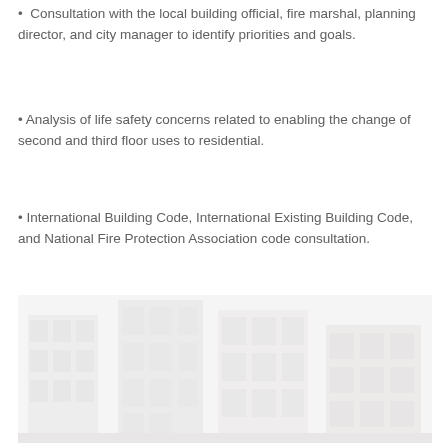• Consultation with the local building official, fire marshal, planning director, and city manager to identify priorities and goals.
• Analysis of life safety concerns related to enabling the change of second and third floor uses to residential.
• International Building Code, International Existing Building Code, and National Fire Protection Association code consultation.
[Figure (photo): A faded/washed-out photograph of a multi-story building facade, showing windows and architectural details, appearing very light/ghosted against the white background.]